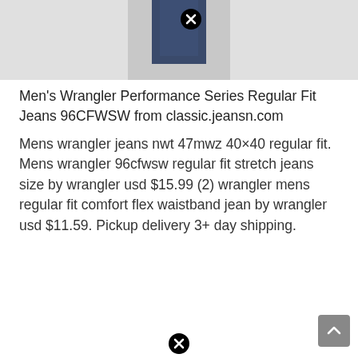[Figure (photo): Partial product image of jeans with a close/remove button (X) overlay at top center]
Men's Wrangler Performance Series Regular Fit Jeans 96CFWSW from classic.jeansn.com
Mens wrangler jeans nwt 47mwz 40×40 regular fit. Mens wrangler 96cfwsw regular fit stretch jeans size by wrangler usd $15.99 (2) wrangler mens regular fit comfort flex waistband jean by wrangler usd $11.59. Pickup delivery 3+ day shipping.